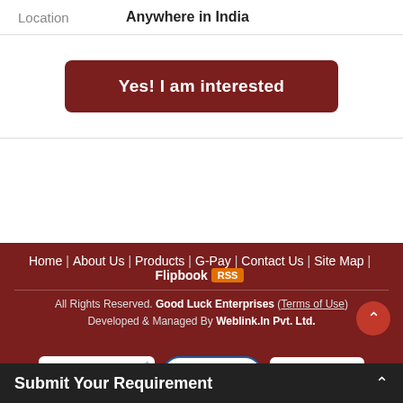Location    Anywhere in India
Yes! I am interested
Home | About Us | Products | G-Pay | Contact Us | Site Map | Flipbook RSS
All Rights Reserved. Good Luck Enterprises (Terms of Use) Developed & Managed By Weblink.In Pvt. Ltd.
[Figure (logo): Starfield Technologies Verified & Secured badge, V-Trust badge, Exporters India Member badge]
Submit Your Requirement